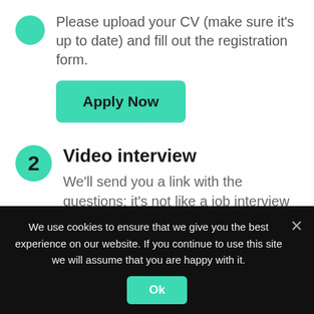Please upload your CV (make sure it's up to date) and fill out the registration form.
[Figure (other): Green 'Apply Now' button]
2  Video interview
We'll send you a link with the questions: it's not like a job interview and there are no right or wrong answers; it simply helps us to get to know you better. You might receive an invitation to the contest right
We use cookies to ensure that we give you the best experience on our website. If you continue to use this site we will assume that you are happy with it.
[Figure (other): Ok button in cookie banner]